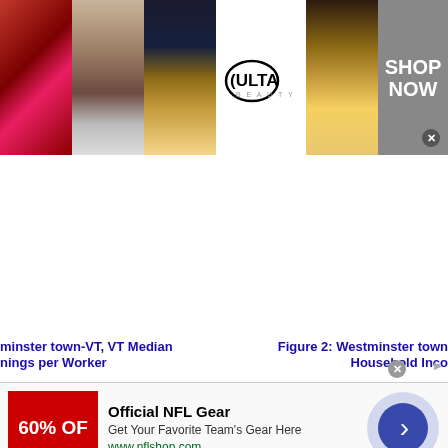[Figure (other): Ulta Beauty advertisement banner showing makeup images (lips, brush, eyes), Ulta logo, and Shop Now button]
minster town-VT, VT Median
nings per Worker
Figure 2: Westminster town
Household Inco
[Figure (other): NFL Official Gear advertisement: 60% OFF, Official NFL Gear, Get Your Favorite Team's Gear Here, www.nflshop.com, with navigation arrow]
Official NFL Gear
Get Your Favorite Team's Gear Here
www.nflshop.com